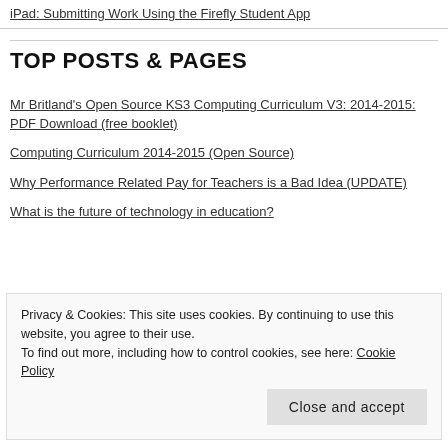iPad: Submitting Work Using the Firefly Student App
TOP POSTS & PAGES
Mr Britland's Open Source KS3 Computing Curriculum V3: 2014-2015: PDF Download (free booklet)
Computing Curriculum 2014-2015 (Open Source)
Why Performance Related Pay for Teachers is a Bad Idea (UPDATE)
What is the future of technology in education?
Privacy & Cookies: This site uses cookies. By continuing to use this website, you agree to their use. To find out more, including how to control cookies, see here: Cookie Policy
Close and accept